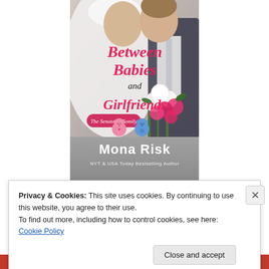[Figure (illustration): Book cover for 'Between Babies and Girlfriends' by Mona Risk. Shows a couple in wedding attire with a floral bouquet, pink and blue teddy bears, and subtitle 'The Senator's Family'. Author noted as NYT & USA Today Bestselling Author.]
Amazon
Privacy & Cookies: This site uses cookies. By continuing to use this website, you agree to their use.
To find out more, including how to control cookies, see here: Cookie Policy
Close and accept